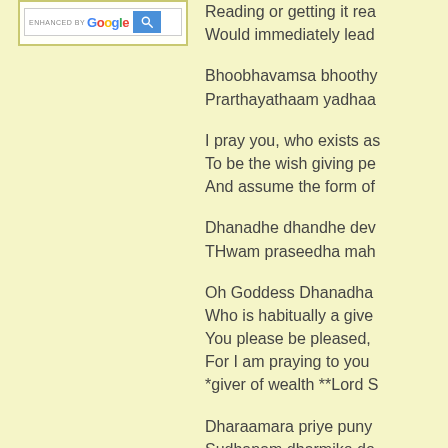[Figure (screenshot): Google custom search box with 'ENHANCED BY Google' label and blue search button]
Reading or getting it rea
Would immediately lead
Bhoobhavamsa bhoothy
Prarthayathaam yadhaa
I pray you, who exists as
To be the wish giving pe
And assume the form of
Dhanadhe dhandhe dev
THwam praseedha mah
Oh Goddess Dhanadha
Who is habitually a give
You please be pleased,
For I am praying to you
*giver of wealth **Lord S
Dharaamara priye puny
Sudhanam dharmiko do